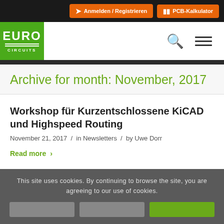Anmelden / Registrieren | PCB-Kalkulator
[Figure (logo): Eurocircuits logo - green background with EURO text and CIRCUITS below]
Archive for month: November, 2017
Workshop für Kurzentschlossene KiCAD und Highspeed Routing
November 21, 2017 / in Newsletters / by Uwe Dorr
Read more >
This site uses cookies. By continuing to browse the site, you are agreeing to our use of cookies.